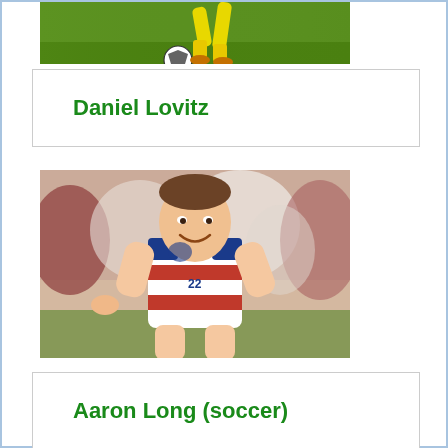[Figure (photo): Soccer player in yellow uniform kicking a ball on a green field, partial view (legs and ball visible)]
Daniel Lovitz
[Figure (photo): Aaron Long, a soccer player in a white USA national team jersey with red and blue stripes, smiling and pointing on the field with a crowd in the background]
Aaron Long (soccer)